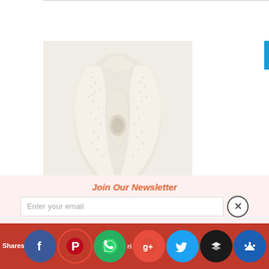[Figure (photo): A cream/off-white crocheted infinity scarf displayed on a mannequin form, with an open lace-style knit texture.]
Join Our Newsletter
Enter your email
Shares